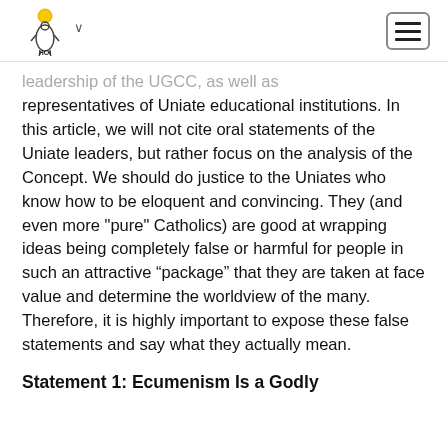HOI [logo with chevron and hamburger menu]
leadership of the UGCC, as well as representatives of Uniate educational institutions. In this article, we will not cite oral statements of the Uniate leaders, but rather focus on the analysis of the Concept. We should do justice to the Uniates who know how to be eloquent and convincing. They (and even more "pure" Catholics) are good at wrapping ideas being completely false or harmful for people in such an attractive “package” that they are taken at face value and determine the worldview of the many. Therefore, it is highly important to expose these false statements and say what they actually mean.
Statement 1: Ecumenism Is a Godly